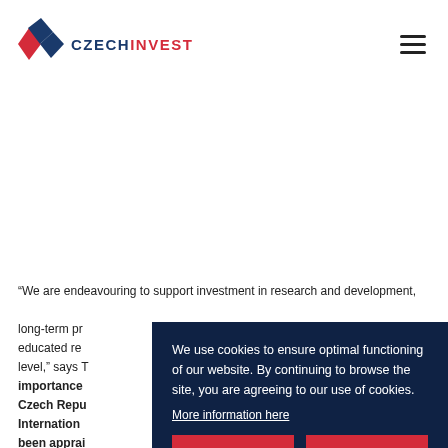CzechInvest
“We are endeavouring to support investment in research and development, long-term priorities, educated researchers, level,” says T… importance of… Czech Republic… International… been appraised… Union’s largest… medical research…
We use cookies to ensure optimal functioning of our website. By continuing to browse the site, you are agreeing to our use of cookies. More information here
Deny all | Accept all